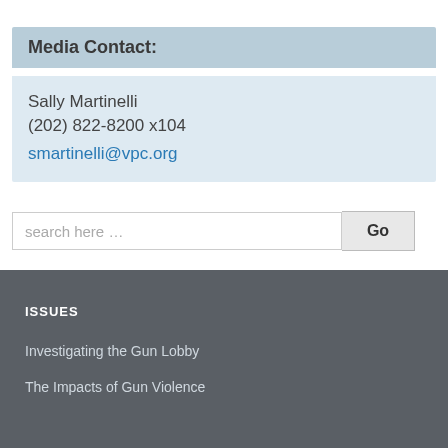Media Contact:
Sally Martinelli
(202) 822-8200 x104
smartinelli@vpc.org
search here …
Tweets by VPCinfo
ISSUES
Investigating the Gun Lobby
The Impacts of Gun Violence